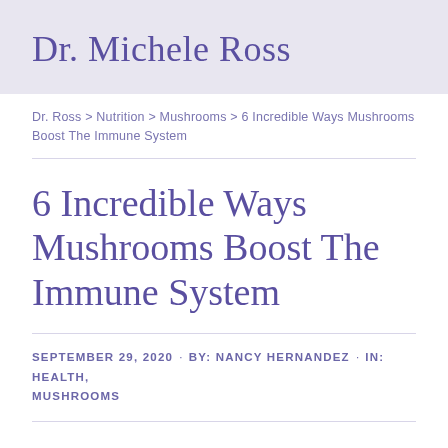Dr. Michele Ross
Dr. Ross > Nutrition > Mushrooms > 6 Incredible Ways Mushrooms Boost The Immune System
6 Incredible Ways Mushrooms Boost The Immune System
SEPTEMBER 29, 2020 · BY: NANCY HERNANDEZ · IN: HEALTH, MUSHROOMS